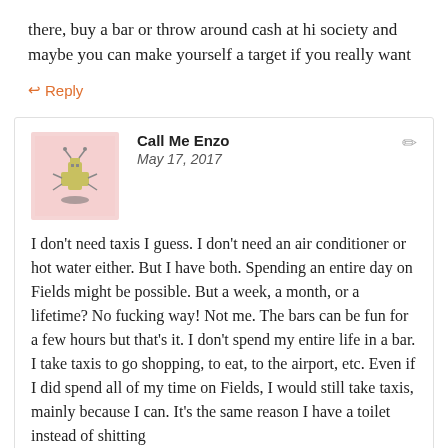there, buy a bar or throw around cash at hi society and maybe you can make yourself a target if you really want
↩ Reply
[Figure (illustration): Pixel art avatar of a cartoon creature on a pink background]
Call Me Enzo
May 17, 2017
I don't need taxis I guess. I don't need an air conditioner or hot water either. But I have both. Spending an entire day on Fields might be possible. But a week, a month, or a lifetime? No fucking way! Not me. The bars can be fun for a few hours but that's it. I don't spend my entire life in a bar. I take taxis to go shopping, to eat, to the airport, etc. Even if I did spend all of my time on Fields, I would still take taxis, mainly because I can. It's the same reason I have a toilet instead of shitting